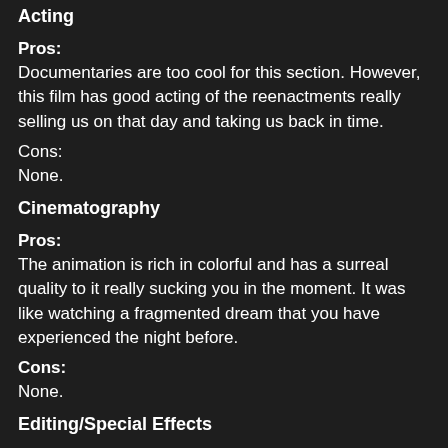Acting
Pros:
Documentaries are too cool for this section. However, this film has good acting of the reenactments really selling us on that day and taking us back in time.
Cons:
None.
Cinematography
Pros:
The animation is rich in colorful and has a surreal quality to it really sucking you in the moment. It was like watching a fragmented dream that you have experienced the night before.
Cons:
None.
Editing/Special Effects